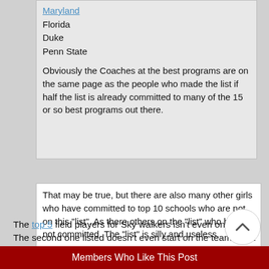Maryland
Florida
Duke
Penn State
Obviously the Coaches at the best programs are on the same page as the people who made the list if half the list is already committed to many of the 15 or so best programs out there.
That may be true, but there are also many other girls who have committed to top 10 schools who are not on this "list". As there others on the "list" who have not committed. The "list" is silly and useless.
The top 5 field players for Sky walkers isn't even on the list. The second one listed doesn't even start on the team. That list is garbage.
Members Who Like This Post